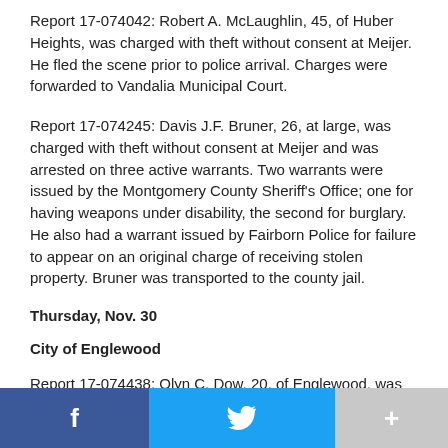Report 17-074042: Robert A. McLaughlin, 45, of Huber Heights, was charged with theft without consent at Meijer. He fled the scene prior to police arrival. Charges were forwarded to Vandalia Municipal Court.
Report 17-074245: Davis J.F. Bruner, 26, at large, was charged with theft without consent at Meijer and was arrested on three active warrants. Two warrants were issued by the Montgomery County Sheriff's Office; one for having weapons under disability, the second for burglary. He also had a warrant issued by Fairborn Police for failure to appear on an original charge of receiving stolen property. Bruner was transported to the county jail.
Thursday, Nov. 30
City of Englewood
Report 17-074438: Olyn C. Dow, 20, of Englewood, was
f  [twitter]  +